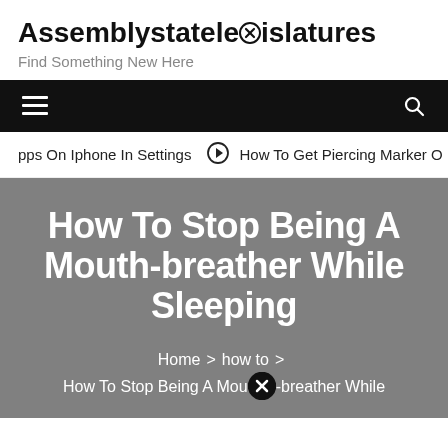Assemblystatelegislatures
Find Something New Here
pps On Iphone In Settings   How To Get Piercing Marker O
How To Stop Being A Mouth-breather While Sleeping
Home > how to > How To Stop Being A Mouth-breather While